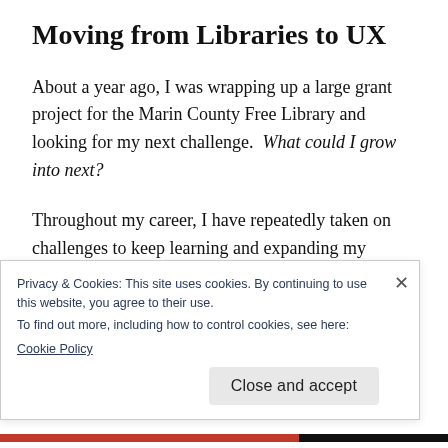Moving from Libraries to UX
About a year ago, I was wrapping up a large grant project for the Marin County Free Library and looking for my next challenge.  What could I grow into next?
Throughout my career, I have repeatedly taken on challenges to keep learning and expanding my skills.  Coming off creating and implementing two major grant initiatives for
Privacy & Cookies: This site uses cookies. By continuing to use this website, you agree to their use.
To find out more, including how to control cookies, see here:
Cookie Policy
Close and accept